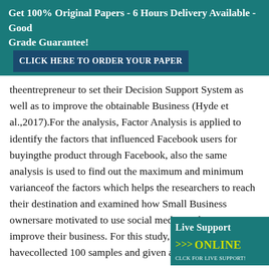Get 100% Original Papers - 6 Hours Delivery Available - Good Grade Guarantee!   CLICK HERE TO ORDER YOUR PAPER
theentrepreneur to set their Decision Support System as well as to improve the obtainable Business (Hyde et al.,2017).For the analysis, Factor Analysis is applied to identify the factors that influenced Facebook users for buyingthe product through Facebook, also the same analysis is used to find out the maximum and minimum varianceof the factors which helps the researchers to reach their destination and examined how Small Business ownersare motivated to use social media applications to improve their business. For this study, researchers havecollected 100 samples and given a helpful conclusion from the consumer view regarding demographic factorsfrom the city of Kolkata, West Bengal, India.Keywords: Demographic Profi... Media Applications, Customer Preferences,